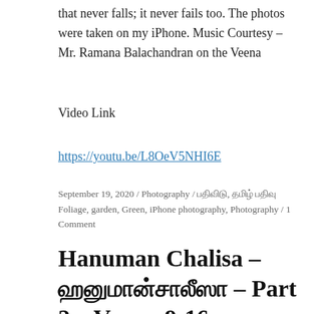that never falls; it never fails too. The photos were taken on my iPhone. Music Courtesy – Mr. Ramana Balachandran on the Veena
Video Link
https://youtu.be/L8OeV5NHI6E
September 19, 2020 / Photography / பதிவிடு, தமிழ் பதிவுFoliage, garden, Green, iPhone photography, Photography / 1 Comment
Hanuman Chalisa – ஹனுமான்சாலீஸா – Part 2 – Verses 9-16